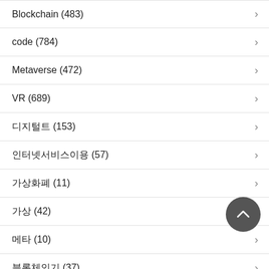Blockchain (483)
code (784)
Metaverse (472)
VR (689)
디지털트 (153)
인터넷서비스이용 (57)
가상화폐 (11)
가상 (42)
메타 (10)
블록체인기 (37)
가상 (19)
가상화폐